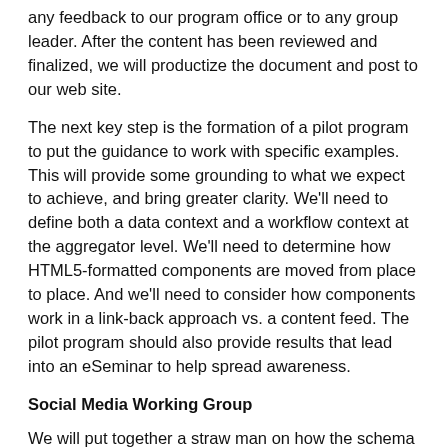any feedback to our program office or to any group leader. After the content has been reviewed and finalized, we will productize the document and post to our web site.
The next key step is the formation of a pilot program to put the guidance to work with specific examples. This will provide some grounding to what we expect to achieve, and bring greater clarity. We'll need to define both a data context and a workflow context at the aggregator level. We'll need to determine how HTML5-formatted components are moved from place to place. And we'll need to consider how components work in a link-back approach vs. a content feed. The pilot program should also provide results that lead into an eSeminar to help spread awareness.
Social Media Working Group
We will put together a straw man on how the schema might be extended to incorporate content intended for social media platforms.
Business Drivers for Componentization
The business drivers around monetization of content are getting stronger. The timing is right for RIXML to issue